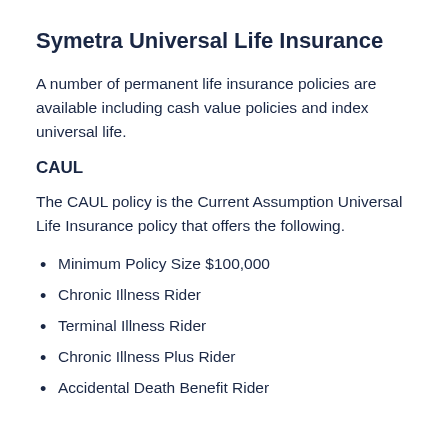Symetra Universal Life Insurance
A number of permanent life insurance policies are available including cash value policies and index universal life.
CAUL
The CAUL policy is the Current Assumption Universal Life Insurance policy that offers the following.
Minimum Policy Size $100,000
Chronic Illness Rider
Terminal Illness Rider
Chronic Illness Plus Rider
Accidental Death Benefit Rider